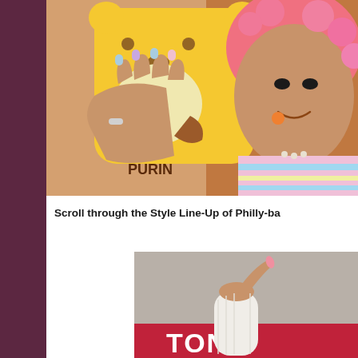[Figure (photo): A young woman with pink curly hair and a pastel striped turtleneck sweater, holding up a yellow Pompompurin character phone case. She has decorative nails and wears rings. Sanrio/kawaii aesthetic.]
Scroll through the Style Line-Up of Philly-ba
[Figure (photo): A person in a white ribbed sweater raising their hand near a sign that reads 'TON', photographed in front of a store.]